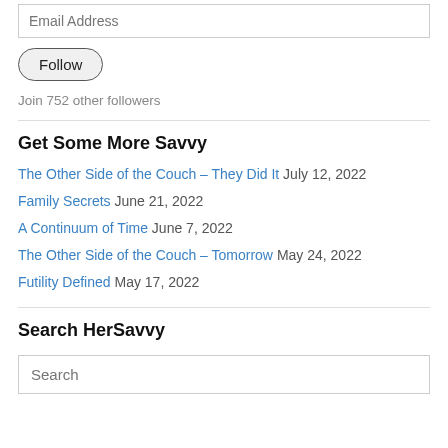Email Address
Follow
Join 752 other followers
Get Some More Savvy
The Other Side of the Couch – They Did It July 12, 2022
Family Secrets June 21, 2022
A Continuum of Time June 7, 2022
The Other Side of the Couch – Tomorrow May 24, 2022
Futility Defined May 17, 2022
Search HerSavvy
Search